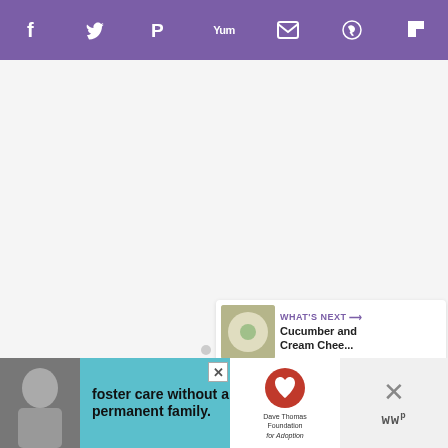[Figure (screenshot): Purple social sharing toolbar with icons: Facebook (f), Twitter (bird), Pinterest (P), Yummly (Yum), Email (envelope), WhatsApp (phone), Flipboard (F)]
[Figure (screenshot): Light gray content area with three small gray dots indicating a loading or slideshow state in the center]
[Figure (screenshot): Heart (favorite) button - purple circle with white heart icon on right side]
[Figure (screenshot): Share button - white circle with share icon on right side]
[Figure (screenshot): What's Next panel showing a thumbnail of food (Cucumber and Cream Chee...) with purple arrow]
[Figure (screenshot): Advertisement banner: foster care without a permanent family. Dave Thomas Foundation for Adoption, with photo of woman and teal background, close X button]